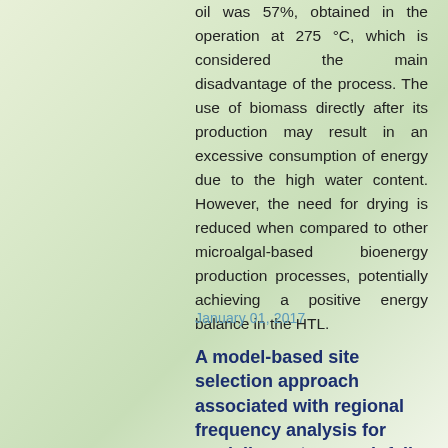oil was 57%, obtained in the operation at 275 °C, which is considered the main disadvantage of the process. The use of biomass directly after its production may result in an excessive consumption of energy due to the high water content. However, the need for drying is reduced when compared to other microalgal-based bioenergy production processes, potentially achieving a positive energy balance in the HTL.
January 01, 2017
A model-based site selection approach associated with regional frequency analysis for modeling extreme rainfall depths in Minas Gerais state, Southeast